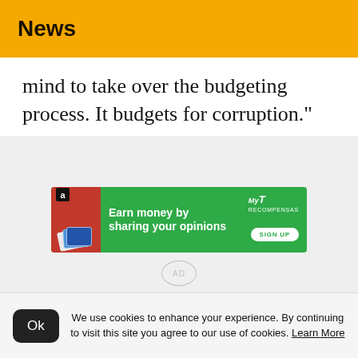News
mind to take over the budgeting process. It budgets for corruption."
[Figure (photo): Advertisement banner: green background with 'Earn money by sharing your opinions' and a SIGN UP button. MyRecompensas logo on the right. Left side shows a red wallet graphic with cards and Amazon logo. AD watermark overlaid below the banner.]
We use cookies to enhance your experience. By continuing to visit this site you agree to our use of cookies. Learn More